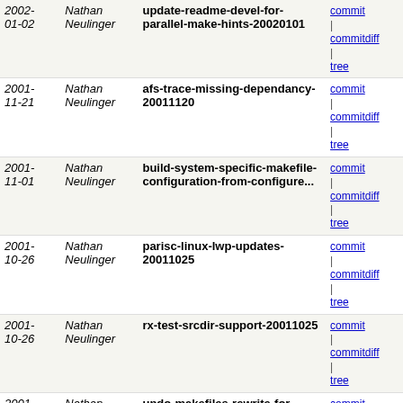| Date | Author | Commit Message | Links |
| --- | --- | --- | --- |
| 2002-01-02 | Nathan Neulinger | update-readme-devel-for-parallel-make-hints-20020101 | commit | commitdiff | tree |
| 2001-11-21 | Nathan Neulinger | afs-trace-missing-dependancy-20011120 | commit | commitdiff | tree |
| 2001-11-01 | Nathan Neulinger | build-system-specific-makefile-configuration-from-configure... | commit | commitdiff | tree |
| 2001-10-26 | Nathan Neulinger | parisc-linux-lwp-updates-20011025 | commit | commitdiff | tree |
| 2001-10-26 | Nathan Neulinger | rx-test-srcdir-support-20011025 | commit | commitdiff | tree |
| 2001-10-24 | Nathan Neulinger | undo-makefiles-rewrite-for-objdir-support-20011023 | commit | commitdiff | tree |
| 2001-10-23 | Nathan Neulinger | makefiles-attempt-to-support-gmake-j-20011023 | commit | commitdiff | tree |
| 2001-10-23 | Nathan Neulinger | venus-kdump-build-from-srcdir-20011023 | commit | commitdiff | tree |
| 2001-10-23 | Nathan Neulinger | parisc-linux-lwp-sp-20011023 | commit | commitdiff | tree |
| 2001-10-23 | Nathan Neulinger | makefiles-rewrite-for-objdir-support-20011023 | commit | commitdiff | tree |
| 2001-10-22 | Nathan Neulinger | venus-install-kdump-scripts-from-srcdir-20011022 | commit | commitdiff | tree |
| 2001-10-19 | Nathan Neulinger | des-use-ar-macro-instead-of-direct-call-like-everyone... | commit | commitdiff | tree |
| 2001-10-19 | Nathan Neulinger | cmd-errors64-is-generated-so-not-from-srcdir-20011019 | commit | commitdiff | tree |
| 2001- | Nathan Neulinger | initial-objdir-support-20011017 | commit | commitdiff | tree |